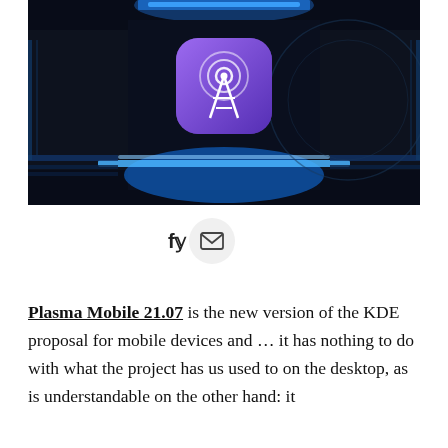[Figure (photo): Dark tech/circuit board background with blue glowing elements and a purple iOS-style app icon featuring a wireless tower/antenna signal symbol in the center.]
[Figure (other): Social sharing icons: Facebook and Twitter letters 'fy' in bold, and a mail envelope icon inside a light grey circle.]
Plasma Mobile 21.07 is the new version of the KDE proposal for mobile devices and ... it has nothing to do with what the project has us used to on the desktop, as is understandable on the other hand: it